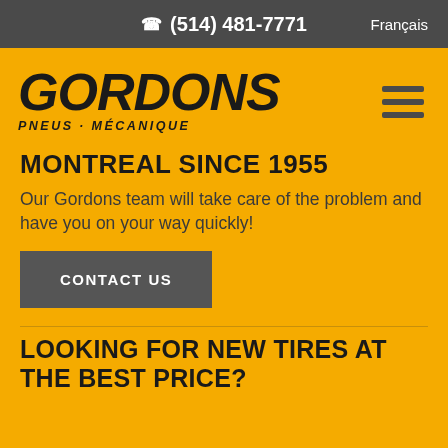☎ (514) 481-7771   Français
[Figure (logo): Gordons Pneus Mécanique logo in black italic bold text on yellow background]
MONTREAL SINCE 1955
Our Gordons team will take care of the problem and have you on your way quickly!
CONTACT US
LOOKING FOR NEW TIRES AT THE BEST PRICE?